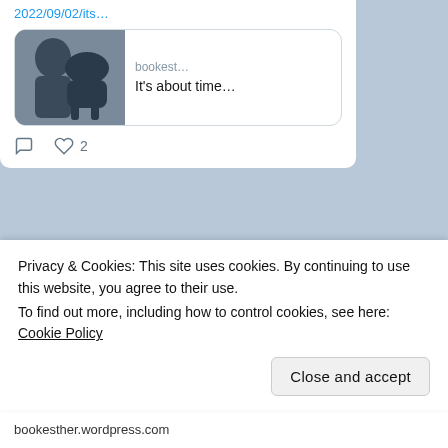2022/09/02/its…
[Figure (screenshot): Preview card showing a person with a dark dog, site label 'bookest…' and title 'It's about time…']
Puzzling #RichardArmitage bookesther.wordpress.com/2022/08/28/puz…
Book of … @.. · Aug 28
Privacy & Cookies: This site uses cookies. By continuing to use this website, you agree to their use.
To find out more, including how to control cookies, see here: Cookie Policy
Close and accept
bookesther.wordpress.com